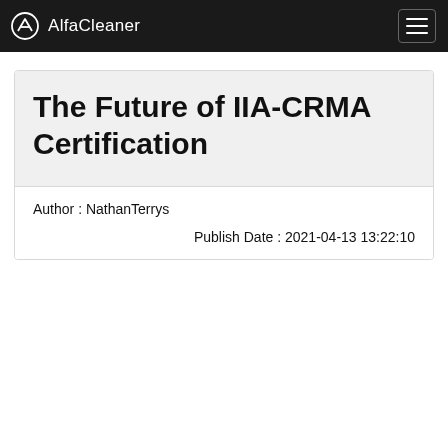AlfaCleaner
The Future of IIA-CRMA Certification
Author : NathanTerrys
Publish Date : 2021-04-13 13:22:10